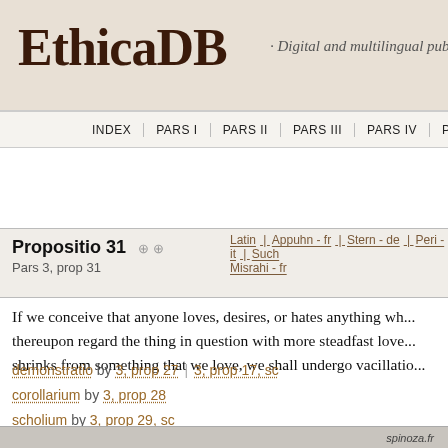EthicaDB · Digital and multilingual publication of S
INDEX  PARS I  PARS II  PARS III  PARS IV  PARS V
Propositio 31   Pars 3, prop 31   Latin | Appuhn - fr | Stern - de | Peri - it | Such... | Misrahi - fr
If we conceive that anyone loves, desires, or hates anything wh... thereupon regard the thing in question with more steadfast love... shrinks from something that we love, we shall undergo vacillatio...
demonstratio by 3, prop 27 | 3, prop 17, sc
corollarium by 3, prop 28
scholium by 3, prop 29, sc
spinoza.fr